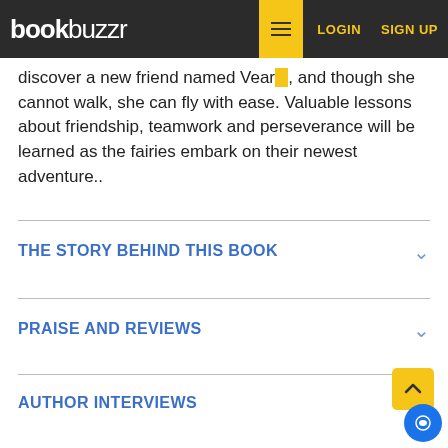bookbuzzr | LOGIN | SIGN UP
discover a new friend named Vearie, and though she cannot walk, she can fly with ease. Valuable lessons about friendship, teamwork and perseverance will be learned as the fairies embark on their newest adventure..
THE STORY BEHIND THIS BOOK
PRAISE AND REVIEWS
AUTHOR INTERVIEWS